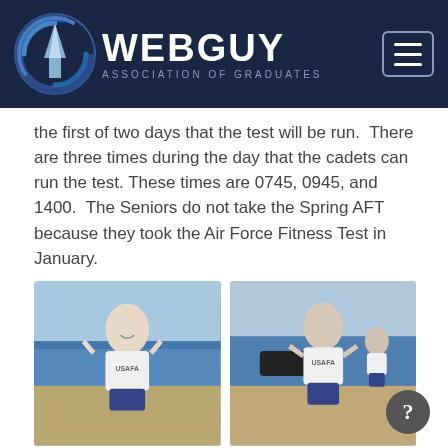WEBGUY ASSOCIATION OF GRADUATES
the first of two days that the test will be run.  There are three times during the day that the cadets can run the test. These times are 0745, 0945, and 1400.  The Seniors do not take the Spring AFT because they took the Air Force Fitness Test in January.
[Figure (photo): Female cadet in USAFA uniform making peace signs with both hands, smiling on outdoor track]
[Figure (photo): Male cadet in USAFA uniform giving thumbs up while running on outdoor track, female cadet visible in background]
The AFT (Arobic Fitness Test) was outside on the road north of the Cadet Gymnasium. The test is a 1.5-mile run, which for this course was twice up and back. All four classes take the AFT.
The AFT is scored as follows: